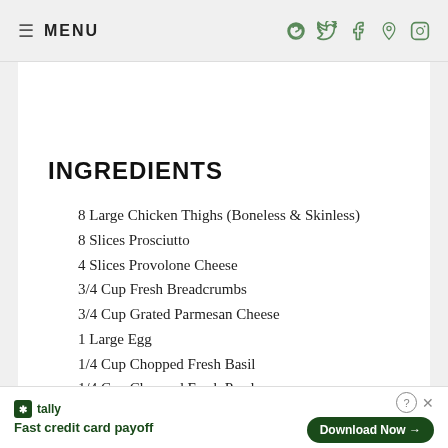MENU
INGREDIENTS
8 Large Chicken Thighs (Boneless & Skinless)
8 Slices Prosciutto
4 Slices Provolone Cheese
3/4 Cup Fresh Breadcrumbs
3/4 Cup Grated Parmesan Cheese
1 Large Egg
1/4 Cup Chopped Fresh Basil
1/4 Cup Chopped Fresh Parsley
1/4 Cup Toasted Pine Nuts
Fast credit card payoff — Download Now (Tally ad)